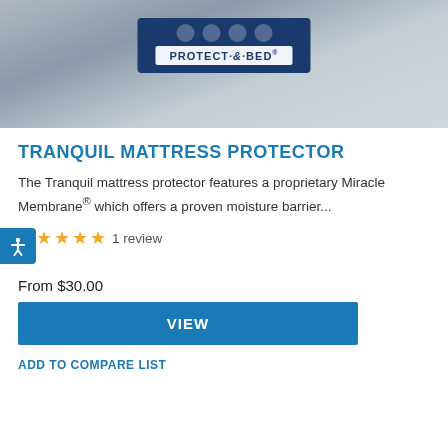[Figure (photo): Product photo of Protect-A-Bed Tranquil Mattress Protector box on a gray fabric surface]
TRANQUIL MATTRESS PROTECTOR
The Tranquil mattress protector features a proprietary Miracle Membrane® which offers a proven moisture barrier...
★★★★★ 1 review
From $30.00
VIEW
ADD TO COMPARE LIST